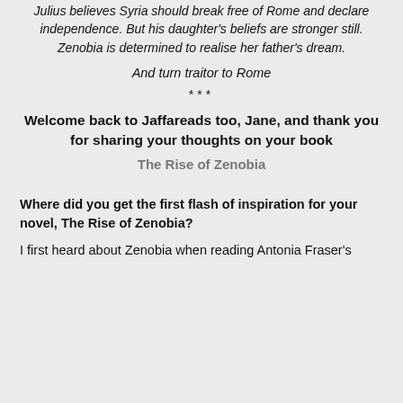Julius believes Syria should break free of Rome and declare independence. But his daughter's beliefs are stronger still. Zenobia is determined to realise her father's dream.
And turn traitor to Rome
***
Welcome back to Jaffareads too, Jane, and thank you for sharing your thoughts on your book
The Rise of Zenobia
Where did you get the first flash of inspiration for your novel, The Rise of Zenobia?
I first heard about Zenobia when reading Antonia Fraser's